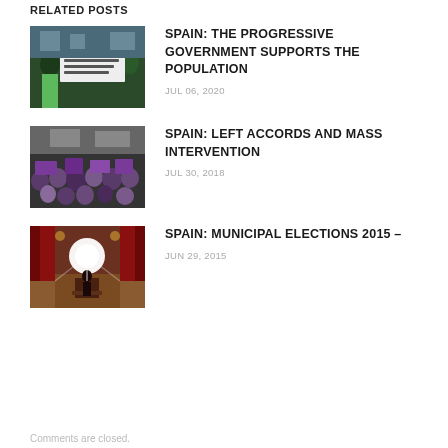RELATED POSTS
[Figure (photo): Protest crowd with banner reading 'LA SALUD Y LA DIGNIDAD NO SE NEGOCIA', people wearing green and holding signs]
SPAIN: THE PROGRESSIVE GOVERNMENT SUPPORTS THE POPULATION
JUL 06, 2020
[Figure (photo): Large crowd of protesters, mostly women, holding purple signs and banners]
SPAIN: LEFT ACCORDS AND MASS INTERVENTION
JUL 30, 2018
[Figure (photo): Stage with bright spotlight and a speaker at a podium in a grand hall with red curtains]
SPAIN: MUNICIPAL ELECTIONS 2015 –
JUN 29, 2015
Comments are closed.